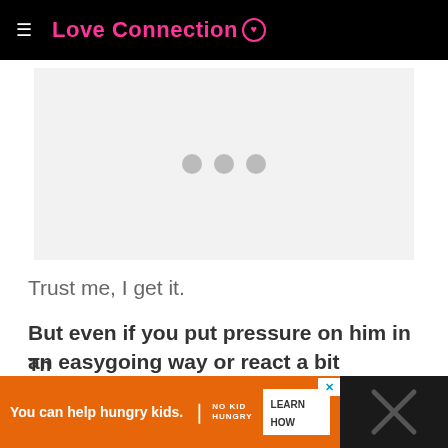Love Connection
[Figure (screenshot): Gray placeholder ad area with three gray dots]
Trust me, I get it.
But even if you put pressure on him in an easygoing way or react a bit impulsively, it could easily push him away.
[Figure (screenshot): Orange ad banner: You can help hungry kids. No Kid Hungry. LEARN HOW button. With close X button.]